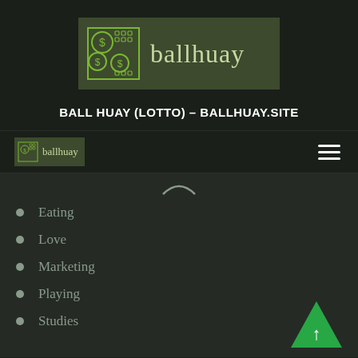[Figure (logo): ballhuay logo: dark olive green rectangle with a grid/money icon on the left and 'ballhuay' text in light green serif font]
BALL HUAY (LOTTO) – BALLHUAY.SITE
[Figure (logo): Small ballhuay logo in navigation bar, olive green background with icon and 'ballhuay' text, plus hamburger menu icon on right]
Eating
Love
Marketing
Playing
Studies